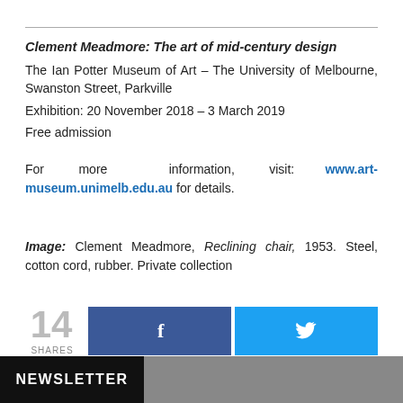Clement Meadmore: The art of mid-century design
The Ian Potter Museum of Art – The University of Melbourne, Swanston Street, Parkville
Exhibition: 20 November 2018 – 3 March 2019
Free admission
For more information, visit: www.art-museum.unimelb.edu.au for details.
Image: Clement Meadmore, Reclining chair, 1953. Steel, cotton cord, rubber. Private collection
[Figure (infographic): Social share count showing 14 shares with Facebook and Twitter share buttons]
NEWSLETTER